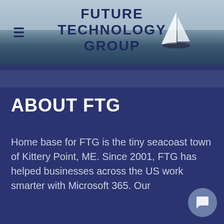[Figure (photo): Harbor/seacoast background photo with water, sky, and sailboat silhouette behind the header]
FUTURE TECHNOLOGY GROUP
ABOUT FTG
Home base for FTG is the tiny seacoast town of Kittery Point, ME. Since 2001, FTG has helped businesses across the US work smarter with Microsoft 365. Our